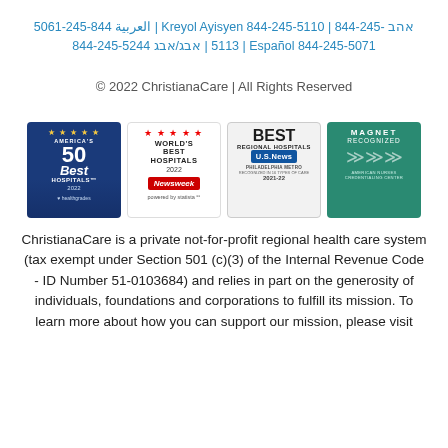العربية 844-245-5061 | Kreyol Ayisyen 844-245-5110 | ??? 844-245-5113 | ???/??? 844-245-5244 | Español 844-245-5071
© 2022 ChristianaCare | All Rights Reserved
[Figure (other): Four award badges: America's 50 Best Hospitals 2022 (Healthgrades), World's Best Hospitals 2022 (Newsweek/Statista), Best Regional Hospitals US News Philadelphia Metro 2021-22, Magnet Recognized American Nurses Credentialing Center]
ChristianaCare is a private not-for-profit regional health care system (tax exempt under Section 501 (c)(3) of the Internal Revenue Code - ID Number 51-0103684) and relies in part on the generosity of individuals, foundations and corporations to fulfill its mission. To learn more about how you can support our mission, please visit